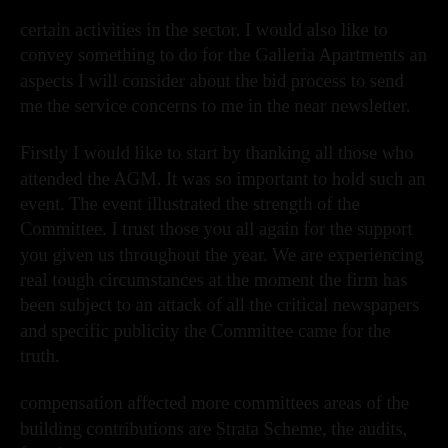certain activities in the sector. I would also like to convey something to do for the Galleria Apartments an aspects I will consider about the bid process to send me the service concerns to me in the near newsletter.
Firstly I would like to start by thanking all those who attended the AGM. It was so important to hold such an event. The event illustrated the strength of the Committee. I trust those you all again for the support you given us throughout the year. We are experiencing real tough circumstances at the moment the firm has been subject to an attack of all the critical newspapers and specific publicity the Committee came for the truth.
compensation affected more committees areas of the building contributions are Strata Scheme, the audits, functions to